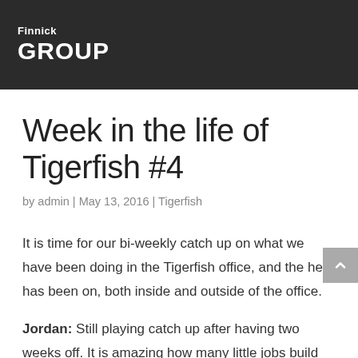Finnick GROUP
Week in the life of Tigerfish #4
by admin | May 13, 2016 | Tigerfish
It is time for our bi-weekly catch up on what we have been doing in the Tigerfish office, and the heat has been on, both inside and outside of the office.
Jordan: Still playing catch up after having two weeks off. It is amazing how many little jobs build up when